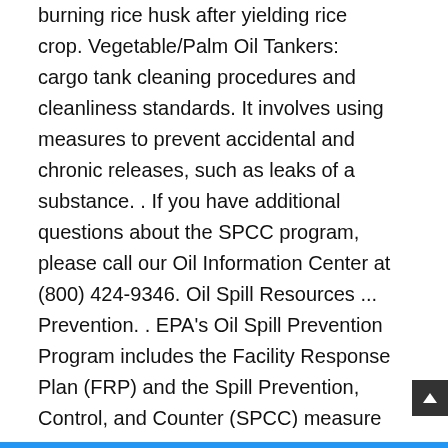burning rice husk after yielding rice crop. Vegetable/Palm Oil Tankers: cargo tank cleaning procedures and cleanliness standards. It involves using measures to prevent accidental and chronic releases, such as leaks of a substance. . If you have additional questions about the SPCC program, please call our Oil Information Center at (800) 424-9346. Oil Spill Resources ... Prevention. . EPA's Oil Spill Prevention Program includes the Facility Response Plan (FRP) and the Spill Prevention, Control, and Counter (SPCC) measure rules. Each country has a government agency that takes care of stringent practices, which need to be followed to avoid oil spills and to support immediate action in case of any spill. Register for the 2021 International Oil Spill Conference. The FRP rule governs the response plan for a worst-case oil discharge or threat of a discharge. Chemical tankers transport a wide